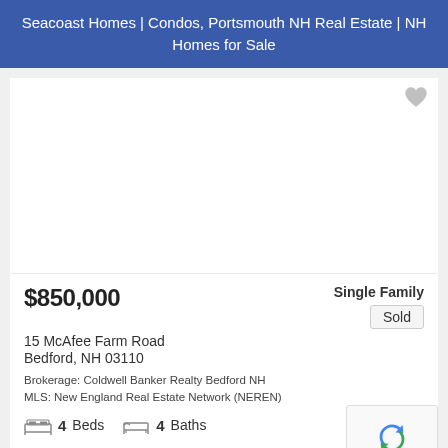Seacoast Homes | Condos, Portsmouth NH Real Estate | NH Homes for Sale
[Figure (photo): Property photo placeholder (white area) with gray heart/favorite icon in top-right corner]
$850,000
Single Family
15 McAfee Farm Road
Sold
Bedford, NH 03110
Brokerage: Coldwell Banker Realty Bedford NH
MLS: New England Real Estate Network (NEREN)
4 Beds   4 Baths